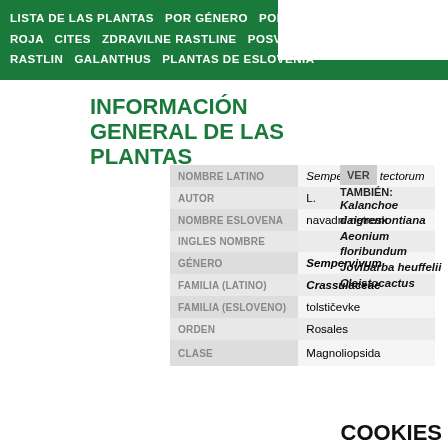LISTA DE LAS PLANTAS  POR GÉNERO  POR FAMILIA  LISTA ROJA  CITES  ZDRAVILNE RASTLINE  POSVOJITELJI RASTLIN  GALANTHUS  PLANTAS DE ESLOVENIA
INFORMACIÓN GENERAL DE LAS PLANTAS
| Campo | Valor |
| --- | --- |
| NOMBRE LATINO | Sempervivum tectorum |
| AUTOR | L. |
| NOMBRE ESLOVENA | navadni netresk |
| INGLES NOMBRE |  |
| GÉNERO | Sempervivum |
| FAMILIA (LATINO) | Crassulaceae |
| FAMILIA (ESLOVENO) | tolstičevke |
| ORDEN | Rosales |
| CLASE | Magnoliopsida |
VER TAMBIÉN: Kalanchoe daigremontiana Aeonium floribundum Jovibarba heuffelii Cleistocactus
COOKIES